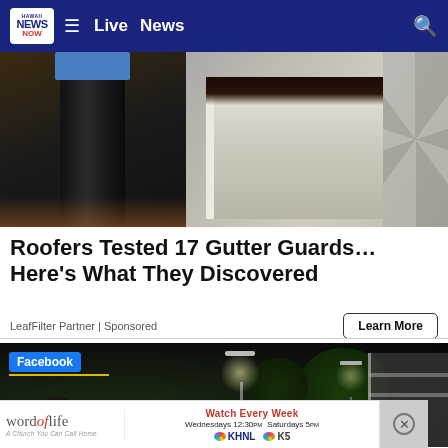Hawaii News Now — Live  News
[Figure (photo): Two-panel image: left shows a black downspout pipe against a garage door, right shows interior of a clean white gutter with gravel wall behind it.]
Roofers Tested 17 Gutter Guards… Here's What They Discovered
LeafFilter Partner | Sponsored
[Figure (screenshot): Night scene video still with Facebook label overlay, showing a parking lot with street lights and trees at night.]
[Figure (infographic): Bottom banner ad for Word of Life: 'Watch Every Week — Wednesdays 12:30pm Saturdays 5pm — KHNL KS' with church tagline 'A Church You Can Call Home.']